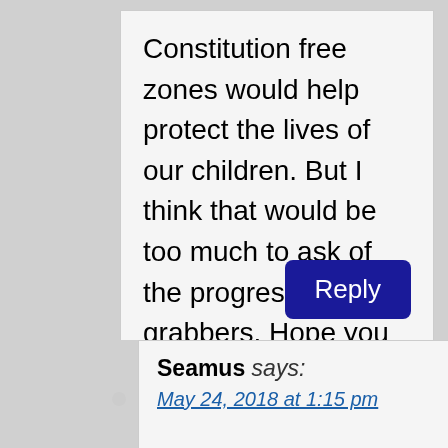Constitution free zones would help protect the lives of our children. But I think that would be too much to ask of the progressive gun grabbers. Hope you had a nice mother’s day holiday, Seamus.
Reply
Seamus says:
May 24, 2018 at 1:15 pm